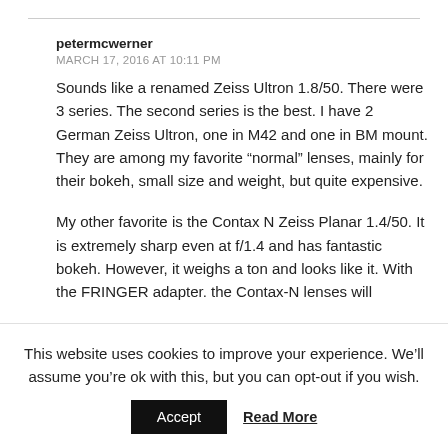petermcwerner
MARCH 17, 2016 AT 10:11 PM
Sounds like a renamed Zeiss Ultron 1.8/50. There were 3 series. The second series is the best. I have 2 German Zeiss Ultron, one in M42 and one in BM mount. They are among my favorite “normal” lenses, mainly for their bokeh, small size and weight, but quite expensive.
My other favorite is the Contax N Zeiss Planar 1.4/50. It is extremely sharp even at f/1.4 and has fantastic bokeh. However, it weighs a ton and looks like it. With the FRINGER adapter. the Contax-N lenses will
This website uses cookies to improve your experience. We’ll assume you’re ok with this, but you can opt-out if you wish.
Accept
Read More